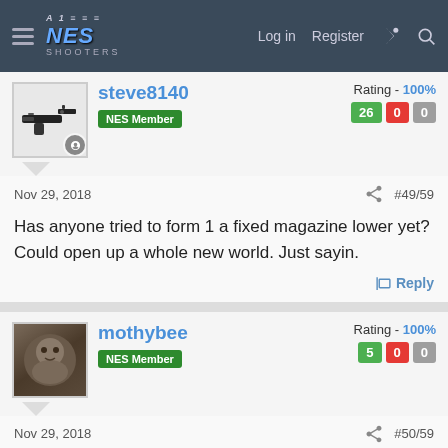NES SHOOTERS — Log in  Register
steve8140
NES Member
Rating - 100%
26  0  0
Nov 29, 2018  #49/59
Has anyone tried to form 1 a fixed magazine lower yet? Could open up a whole new world. Just sayin.
Reply
mothybee
NES Member
Rating - 100%
5  0  0
Nov 29, 2018  #50/59
Frizzle Fry said:
What business does the ATF have enforcing state laws..?
More importantly, state whim, not law.